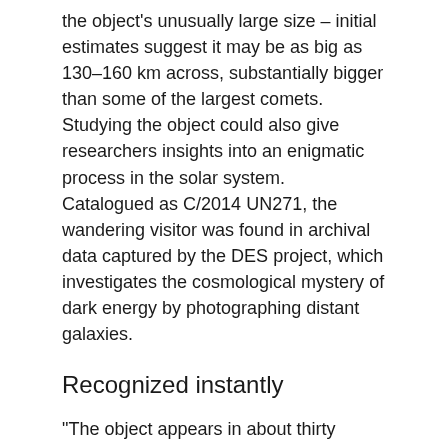the object's unusually large size – initial estimates suggest it may be as big as 130–160 km across, substantially bigger than some of the largest comets. Studying the object could also give researchers insights into an enigmatic process in the solar system.
Catalogued as C/2014 UN271, the wandering visitor was found in archival data captured by the DES project, which investigates the cosmological mystery of dark energy by photographing distant galaxies.
Recognized instantly
“The object appears in about thirty images out of the [approximately] 80,000 that were taken over six years for the survey,” Gary Bernstein of the University of Pennsylvania, who co-discovered